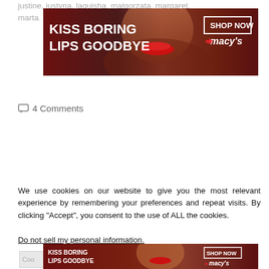justine, justyna, laquisha, malgorzata, margaret, marta, nderimane, pearl, patrol, guadalupe, tapeomalua
[Figure (photo): Macy's advertisement banner: 'KISS BORING LIPS GOODBYE' with SHOP NOW button and Macy's star logo, featuring a woman with red lips]
4 Comments
[Figure (photo): Macy's advertisement banner repeated: 'KISS BORING LIPS GOODBYE' with SHOP NOW button and Macy's star logo]
July 28, 2015
New Zealand govt.
We use cookies on our website to give you the most relevant experience by remembering your preferences and repeat visits. By clicking “Accept”, you consent to the use of ALL the cookies.
Do not sell my personal information.